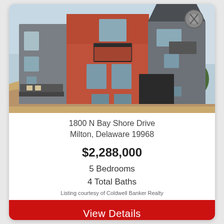[Figure (photo): Exterior aerial/elevated view of a modern multi-story beach house with orange/red and gray siding, balconies, and decks. A spiral staircase is visible on the right structure. Sandy dunes and blue sky in the background.]
1800 N Bay Shore Drive
Milton, Delaware 19968
$2,288,000
5 Bedrooms
4 Total Baths
Listing courtesy of Coldwell Banker Realty
View Details